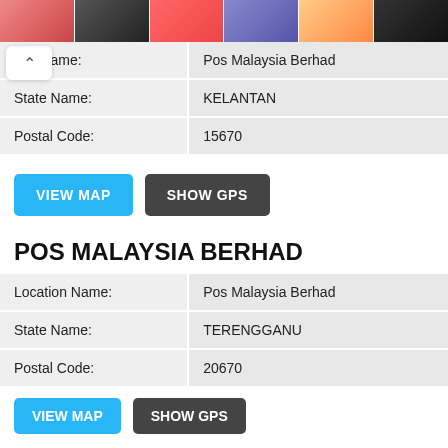[Figure (photo): Row of product thumbnail images (swimwear) at the top of the page]
| tion Name: | Pos Malaysia Berhad |
| State Name: | KELANTAN |
| Postal Code: | 15670 |
VIEW MAP   SHOW GPS
POS MALAYSIA BERHAD
| Location Name: | Pos Malaysia Berhad |
| State Name: | TERENGGANU |
| Postal Code: | 20670 |
VIEW MAP   SHOW GPS